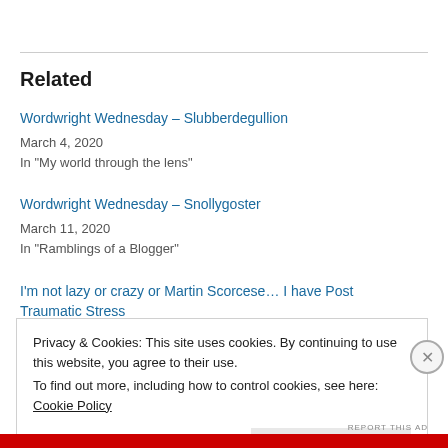Related
Wordwright Wednesday – Slubberdegullion
March 4, 2020
In "My world through the lens"
Wordwright Wednesday – Snollygoster
March 11, 2020
In "Ramblings of a Blogger"
I'm not lazy or crazy or Martin Scorcese… I have Post Traumatic Stress
Privacy & Cookies: This site uses cookies. By continuing to use this website, you agree to their use.
To find out more, including how to control cookies, see here: Cookie Policy
Close and accept